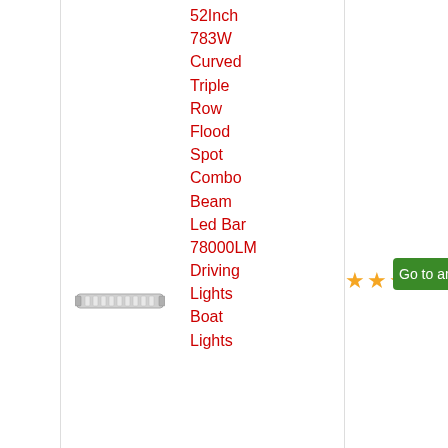52Inch 783W Curved Triple Row Flood Spot Combo Beam Led Bar 78000LM Driving Lights Boat Lights
[Figure (photo): Small product image of a LED light bar (curved, rectangular, silver/grey)]
★★★★★
Go to amaz